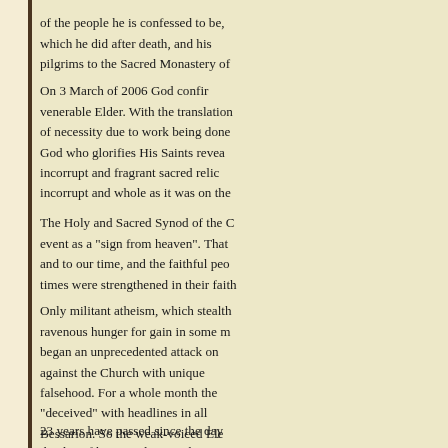of the people he is confessed to be, which he did after death, and his pilgrims to the Sacred Monastery of
On 3 March of 2006 God confirmed the venerable Elder. With the translation of necessity due to work being done God who glorifies His Saints revealed incorrupt and fragrant sacred relics incorrupt and whole as it was on the
The Holy and Sacred Synod of the Church event as a "sign from heaven". That and to our time, and the faithful people times were strengthened in their faith.
Only militant atheism, which stealthily ravenous hunger for gain in some men began an unprecedented attack on against the Church with unique falsehood. For a whole month the "deceived" with headlines in all Bessarion. So the weak-voiced Elder sanctity and many became grounded
23 years have passed since the day the day of his Translation. The